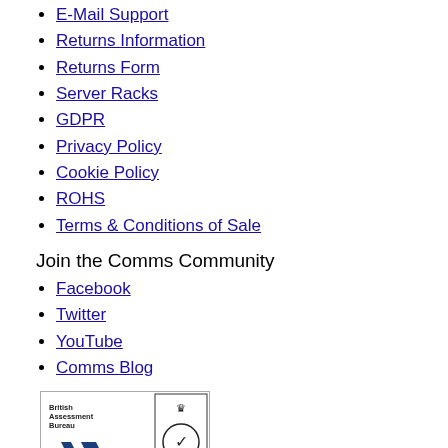E-Mail Support
Returns Information
Returns Form
Server Racks
GDPR
Privacy Policy
Cookie Policy
ROHS
Terms & Conditions of Sale
Join the Comms Community
Facebook
Twitter
YouTube
Comms Blog
[Figure (logo): British Assessment Bureau ISO 9001 Quality Management UKAS Management Systems 8289 certification badge]